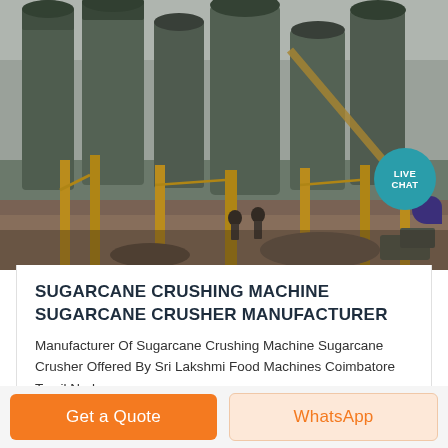[Figure (photo): Industrial facility with large gray cylindrical silos/tanks and yellow metal support structures. Workers and heavy equipment visible on a dirt ground area. Overcast sky in background.]
SUGARCANE CRUSHING MACHINE SUGARCANE CRUSHER MANUFACTURER
Manufacturer Of Sugarcane Crushing Machine Sugarcane Crusher Offered By Sri Lakshmi Food Machines Coimbatore Tamil Nadu
Get a Quote
WhatsApp